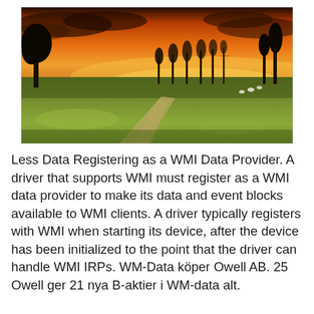[Figure (photo): Landscape photo of a green meadow and farmland with golden orange sunset sky, trees in the background, and grazing animals in the distance.]
Less Data Registering as a WMI Data Provider. A driver that supports WMI must register as a WMI data provider to make its data and event blocks available to WMI clients. A driver typically registers with WMI when starting its device, after the device has been initialized to the point that the driver can handle WMI IRPs. WM-Data köper Owell AB. 25 Owell ger 21 nya B-aktier i WM-data alt.